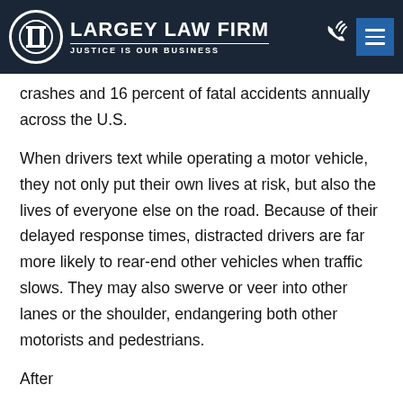Largey Law Firm — Justice Is Our Business
crashes and 16 percent of fatal accidents annually across the U.S.
When drivers text while operating a motor vehicle, they not only put their own lives at risk, but also the lives of everyone else on the road. Because of their delayed response times, distracted drivers are far more likely to rear-end other vehicles when traffic slows. They may also swerve or veer into other lanes or the shoulder, endangering both other motorists and pedestrians.
After an accident, attorneys and doctors may be able to...